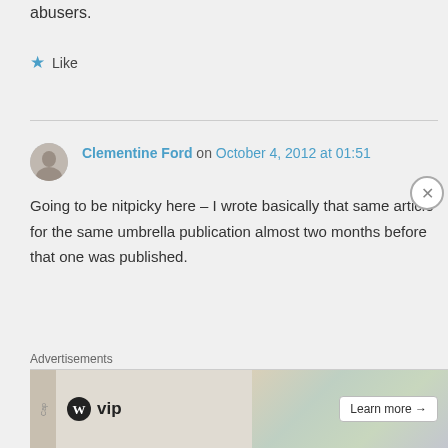abusers.
★ Like
Clementine Ford on October 4, 2012 at 01:51
Going to be nitpicky here – I wrote basically that same article for the same umbrella publication almost two months before that one was published.
Advertisements
[Figure (screenshot): WordPress VIP advertisement banner with WordPress logo, 'vip' text, card imagery in background, and 'Learn more →' button]